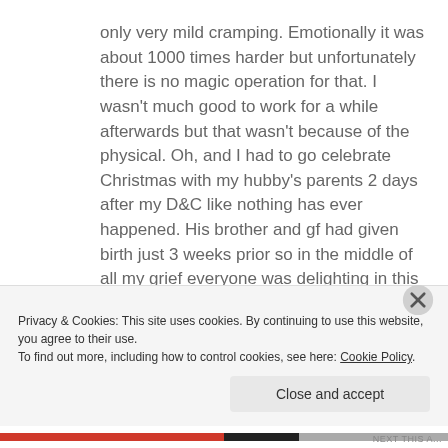only very mild cramping. Emotionally it was about 1000 times harder but unfortunately there is no magic operation for that. I wasn't much good to work for a while afterwards but that wasn't because of the physical. Oh, and I had to go celebrate Christmas with my hubby's parents 2 days after my D&C like nothing has ever happened. His brother and gf had given birth just 3 weeks prior so in the middle of all my grief everyone was delighting in this new baby. So if you're weighing up the options I vote D&C as you could be waiting weeks for a miscarriage and I understand they are painful and you bleed a lot!!
Privacy & Cookies: This site uses cookies. By continuing to use this website, you agree to their use. To find out more, including how to control cookies, see here: Cookie Policy